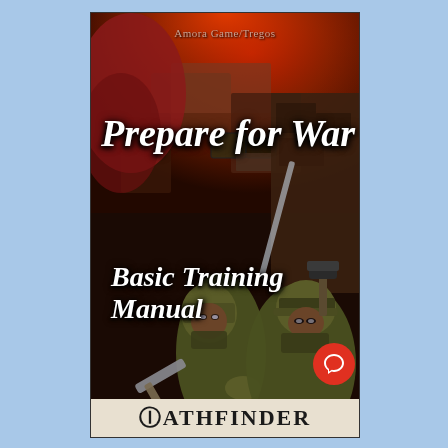[Figure (illustration): Book cover for 'Prepare for War: Basic Training Manual' — a Pathfinder RPG supplement by Amora Game/Tregos. The cover shows a dark fantasy painting of armored soldiers/warriors in olive-green armor wielding swords and hammers, set against a fiery red-brown rocky background. Two main soldier figures are prominent in the lower half, with a large sword in the foreground crossing the image diagonally.]
Prepare for War
Basic Training Manual
PATHFINDER